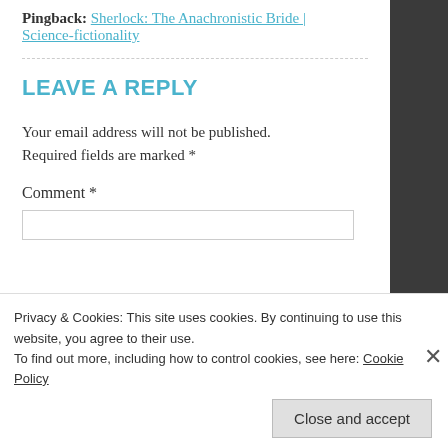Pingback: Sherlock: The Anachronistic Bride | Science-fictionality
LEAVE A REPLY
Your email address will not be published. Required fields are marked *
Comment *
Privacy & Cookies: This site uses cookies. By continuing to use this website, you agree to their use.
To find out more, including how to control cookies, see here: Cookie Policy
Close and accept